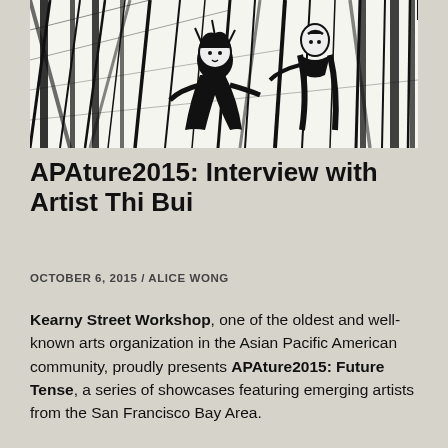[Figure (illustration): Black and white ink illustration showing figures in a dense, sketchy style with diagonal lines, appearing to depict people among bamboo or tall grass/reeds]
APAture2015: Interview with Artist Thi Bui
OCTOBER 6, 2015 / ALICE WONG
Kearny Street Workshop, one of the oldest and well-known arts organization in the Asian Pacific American community, proudly presents APAture2015: Future Tense, a series of showcases featuring emerging artists from the San Francisco Bay Area.
On Saturday, October 10, the Comics & Illustration Show will feature a number of special and artist...